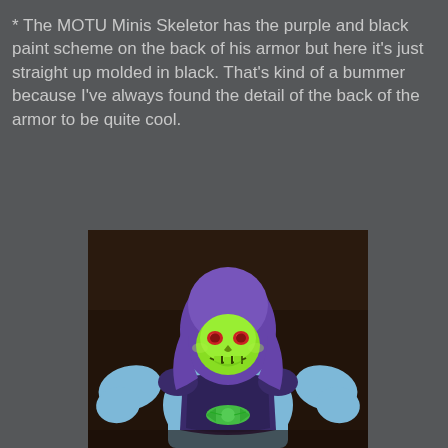* The MOTU Minis Skeletor has the purple and black paint scheme on the back of his armor but here it's just straight up molded in black. That's kind of a bummer because I've always found the detail of the back of the armor to be quite cool.
[Figure (photo): Close-up photo of a MOTU Minis Skeletor action figure showing the front view. The figure has a light blue body with muscular build, wearing dark purple/blue chest armor with a green bow-tie emblem. The head features a green skull face with red eyes, and a purple hood/helmet. The background is dark brown/wooden.]